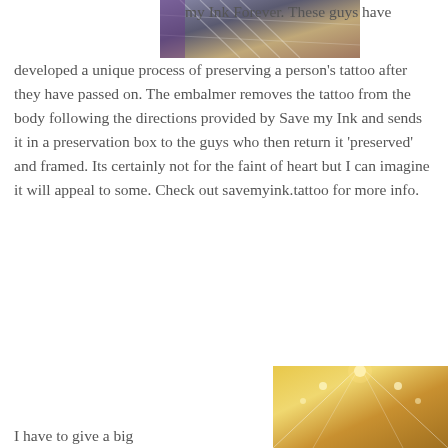[Figure (photo): Partial photo of what appears to be a tattoo preservation display or framed artwork, showing metallic/grid-like structures with purple tones]
my Ink Forever. These guys have developed a unique process of preserving a person's tattoo after they have passed on. The embalmer removes the tattoo from the body following the directions provided by Save my Ink and sends it in a preservation box to the guys who then return it 'preserved' and framed. Its certainly not for the faint of heart but I can imagine it will appeal to some. Check out savemyink.tattoo for more info.
[Figure (photo): Interior photo of a large exhibition hall or warehouse with bright overhead lighting and golden/yellow tones]
I have to give a big